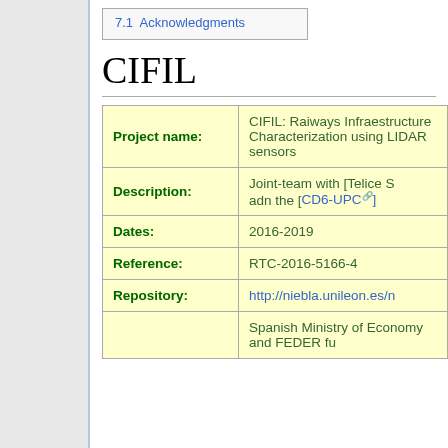7.1  Acknowledgments
CIFIL
|  |  |
| --- | --- |
| Project name: | CIFIL: Raiways Infraestructure Characterization using LIDAR sensors |
| Description: | Joint-team with [Telice S adn the [CD6-UPC] |
| Dates: | 2016-2019 |
| Reference: | RTC-2016-5166-4 |
| Repository: | http://niebla.unileon.es/... |
|  | Spanish Ministry of Economy and FEDER fu... |